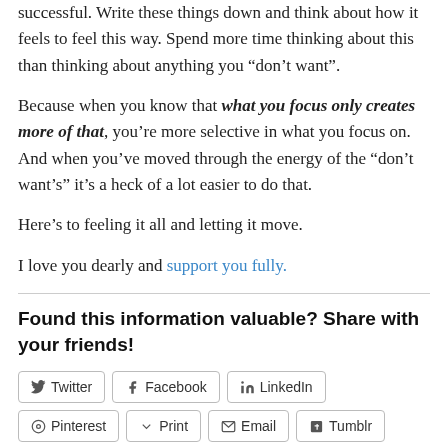successful. Write these things down and think about how it feels to feel this way. Spend more time thinking about this than thinking about anything you “don’t want”.
Because when you know that what you focus only creates more of that, you’re more selective in what you focus on. And when you’ve moved through the energy of the “don’t want’s” it’s a heck of a lot easier to do that.
Here’s to feeling it all and letting it move.
I love you dearly and support you fully.
Found this information valuable? Share with your friends!
Twitter | Facebook | LinkedIn | Pinterest | Print | Email | Tumblr | More